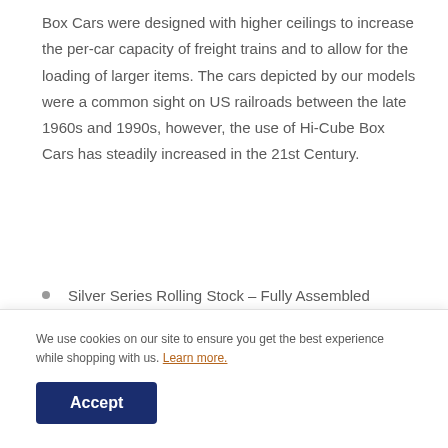Box Cars were designed with higher ceilings to increase the per-car capacity of freight trains and to allow for the loading of larger items. The cars depicted by our models were a common sight on US railroads between the late 1960s and 1990s, however, the use of Hi-Cube Box Cars has steadily increased in the 21st Century.
Silver Series Rolling Stock – Fully Assembled
Highly Detailed Painted Bodies
Blackened Machined Metal Wheels with RP25 Contours
We use cookies on our site to ensure you get the best experience while shopping with us. Learn more.